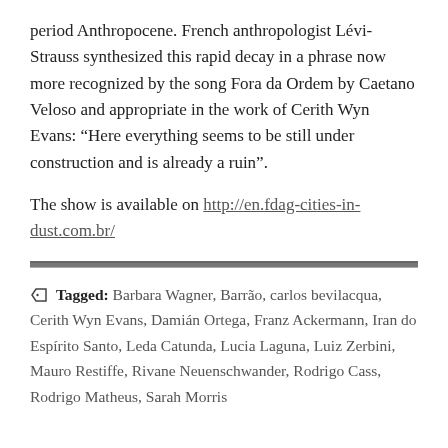period Anthropocene. French anthropologist Lévi-Strauss synthesized this rapid decay in a phrase now more recognized by the song Fora da Ordem by Caetano Veloso and appropriate in the work of Cerith Wyn Evans: “Here everything seems to be still under construction and is already a ruin”.
The show is available on http://en.fdag-cities-in-dust.com.br/
Tagged: Barbara Wagner, Barrão, carlos bevilacqua, Cerith Wyn Evans, Damián Ortega, Franz Ackermann, Iran do Espírito Santo, Leda Catunda, Lucia Laguna, Luiz Zerbini, Mauro Restiffe, Rivane Neuenschwander, Rodrigo Cass, Rodrigo Matheus, Sarah Morris